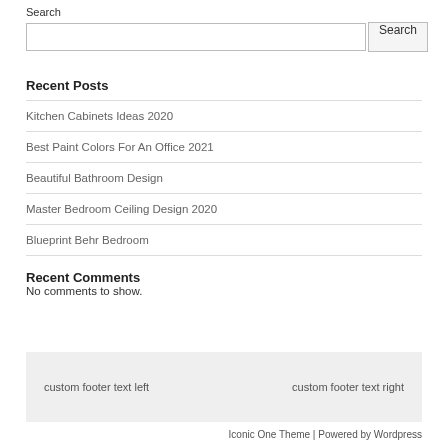Search
Recent Posts
Kitchen Cabinets Ideas 2020
Best Paint Colors For An Office 2021
Beautiful Bathroom Design
Master Bedroom Ceiling Design 2020
Blueprint Behr Bedroom
Recent Comments
No comments to show.
custom footer text left    custom footer text right
Iconic One Theme | Powered by Wordpress